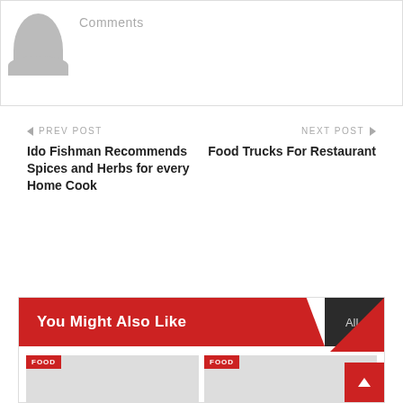[Figure (illustration): User avatar placeholder - gray silhouette of a person]
Comments
← PREV POST
Ido Fishman Recommends Spices and Herbs for every Home Cook
NEXT POST →
Food Trucks For Restaurant
You Might Also Like
All ˅
[Figure (illustration): Card image placeholder with FOOD tag]
[Figure (illustration): Card image placeholder with FOOD tag]